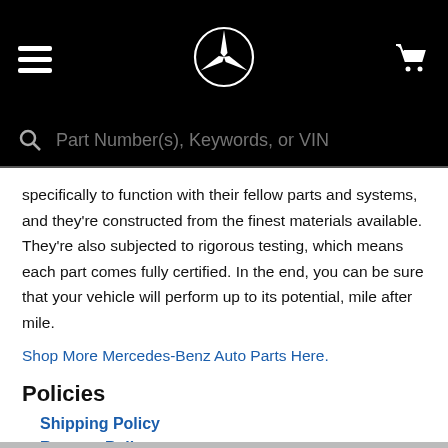[Figure (screenshot): Mercedes-Benz website header with hamburger menu icon on the left, Mercedes-Benz star logo in the center, and shopping cart icon on the right, all on a black background. Below is a search bar with placeholder text 'Part Number(s), Keywords, or VIN'.]
specifically to function with their fellow parts and systems, and they're constructed from the finest materials available. They're also subjected to rigorous testing, which means each part comes fully certified. In the end, you can be sure that your vehicle will perform up to its potential, mile after mile.
Shop More Mercedes-Benz Auto Parts Here.
Policies
Shipping Policy
Returns Policy
Contact Us